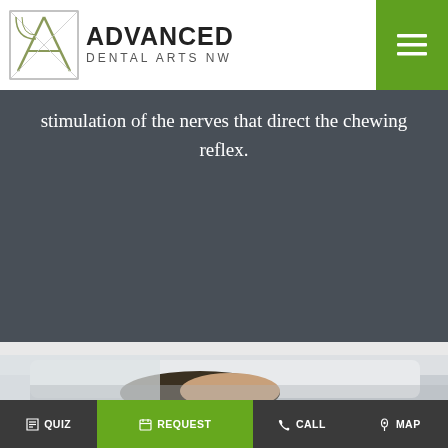ADVANCED DENTAL ARTS NW
stimulation of the nerves that direct the chewing reflex.
[Figure (photo): Person lying in bed with head partially covered by white pillow and blanket]
QUIZ | REQUEST | CALL | MAP